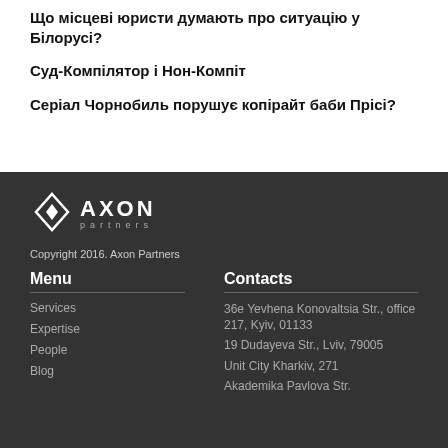Що місцеві юристи думають про ситуацію у Білорусі?
Суд-Компілятор і Нон-Компіт
Серіал Чорнобиль порушує копірайт баби Прісі?
[Figure (logo): Axon Partners logo — diamond/arrow shape icon with AXON PARTNERS text]
Copyright 2016. Axon Partners
Menu
Services
Expertise
People
Blog
Contacts
36e Yevhena Konovaltsia Str., office 217, Kyiv, 01133
19 Dudayeva Str., Lviv, 79005
Unit City Kharkiv, 271
Akademika Pavlova Str.